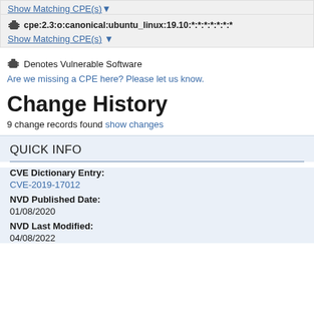Show Matching CPE(s)
cpe:2.3:o:canonical:ubuntu_linux:19.10:*:*:*:*:*:*:*
Show Matching CPE(s)
Denotes Vulnerable Software
Are we missing a CPE here? Please let us know.
Change History
9 change records found show changes
QUICK INFO
CVE Dictionary Entry:
CVE-2019-17012
NVD Published Date:
01/08/2020
NVD Last Modified:
04/08/2022